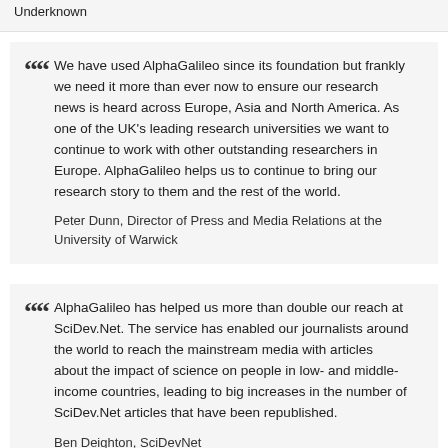Underknown
We have used AlphaGalileo since its foundation but frankly we need it more than ever now to ensure our research news is heard across Europe, Asia and North America. As one of the UK's leading research universities we want to continue to work with other outstanding researchers in Europe. AlphaGalileo helps us to continue to bring our research story to them and the rest of the world.

Peter Dunn, Director of Press and Media Relations at the University of Warwick
AlphaGalileo has helped us more than double our reach at SciDev.Net. The service has enabled our journalists around the world to reach the mainstream media with articles about the impact of science on people in low- and middle-income countries, leading to big increases in the number of SciDev.Net articles that have been republished.

Ben Deighton, SciDevNet